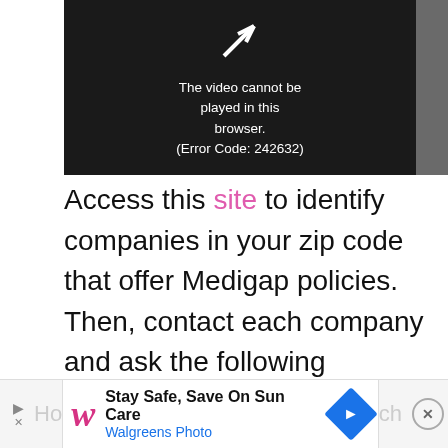[Figure (screenshot): Video player showing error message: 'The video cannot be played in this browser. (Error Code: 242632)' on a dark background with a play icon]
Access this site to identify companies in your zip code that offer Medigap policies. Then, contact each company and ask the following questions:
What is your initial premium?
[Figure (screenshot): Walgreens Photo advertisement banner: 'Stay Safe, Save On Sun Care - Walgreens Photo' with navigation arrows and close button]